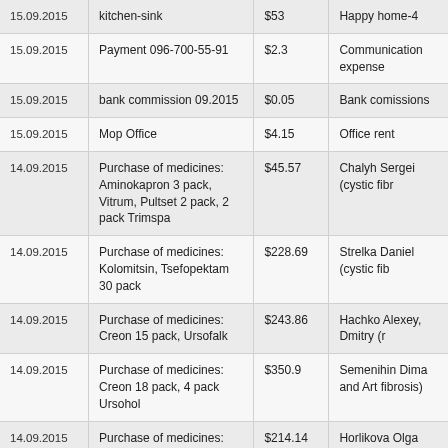| Date | Description | Amount | Category |
| --- | --- | --- | --- |
| 15.09.2015 | kitchen-sink | $53 | Happy home-4 |
| 15.09.2015 | Payment 096-700-55-91 | $2.3 | Communication expense |
| 15.09.2015 | bank commission 09.2015 | $0.05 | Bank comissions |
| 15.09.2015 | Mop Office | $4.15 | Office rent |
| 14.09.2015 | Purchase of medicines: Aminokapron 3 pack, Vitrum, Pultset 2 pack, 2 pack Trimspa | $45.57 | Chalyh Sergei (cystic fibr |
| 14.09.2015 | Purchase of medicines: Kolomitsin, Tsefopektam 30 pack | $228.69 | Strelka Daniel (cystic fib |
| 14.09.2015 | Purchase of medicines: Creon 15 pack, Ursofalk | $243.86 | Hachko Alexey, Dmitry (r |
| 14.09.2015 | Purchase of medicines: Creon 18 pack, 4 pack Ursohol | $350.9 | Semenihin Dima and Art fibrosis) |
| 14.09.2015 | Purchase of medicines: Flomax 5 pack, PMS-Ursodiol 2 pack, 2 pack | $214.14 | Horlikova Olga (cystic fib |